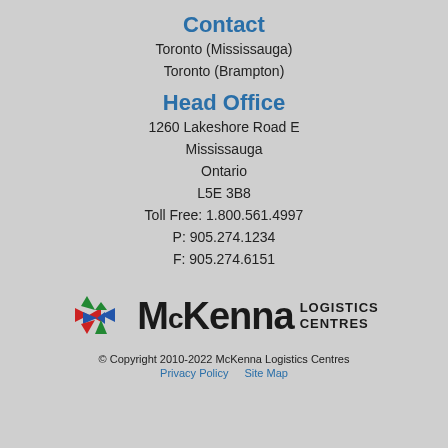Contact
Toronto (Mississauga)
Toronto (Brampton)
Head Office
1260 Lakeshore Road E
Mississauga
Ontario
L5E 3B8
Toll Free: 1.800.561.4997
P: 905.274.1234
F: 905.274.6151
[Figure (logo): McKenna Logistics Centres logo with colorful compass star icon]
© Copyright 2010-2022 McKenna Logistics Centres  Privacy Policy  Site Map